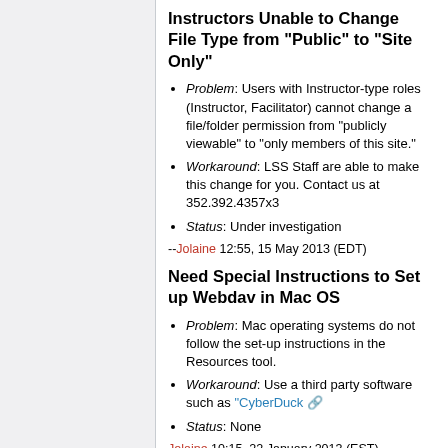Instructors Unable to Change File Type from "Public" to "Site Only"
Problem: Users with Instructor-type roles (Instructor, Facilitator) cannot change a file/folder permission from "publicly viewable" to "only members of this site."
Workaround: LSS Staff are able to make this change for you. Contact us at 352.392.4357x3
Status: Under investigation
--Jolaine 12:55, 15 May 2013 (EDT)
Need Special Instructions to Set up Webdav in Mac OS
Problem: Mac operating systems do not follow the set-up instructions in the Resources tool.
Workaround: Use a third party software such as "CyberDuck"
Status: None
Jolaine 10:15, 22 January 2013 (EST)